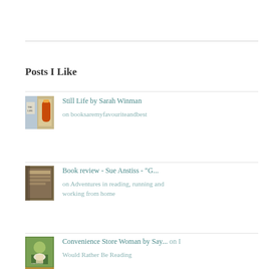Posts I Like
Still Life by Sarah Winman on booksaremyfavouriteandbest
Book review - Sue Anstiss - "G... on Adventures in reading, running and working from home
Convenience Store Woman by Say... on I Would Rather Be Reading
Barbara Comyns - The Vet's Dau... on The